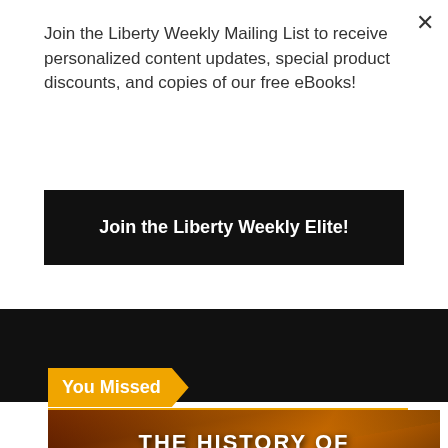Join the Liberty Weekly Mailing List to receive personalized content updates, special product discounts, and copies of our free eBooks!
Join the Liberty Weekly Elite!
You Missed
[Figure (photo): Podcast cover art for 'The History of Antiwar.com ft. Eric Garris Ep. 229' with text overlay showing 'THE HISTORY OF ANTIWAR.' on a warm reddish-orange background with imagery]
The Liberty Weekly Podcast
The History of Antiwar.com ft. Eric Garris Ep. 229